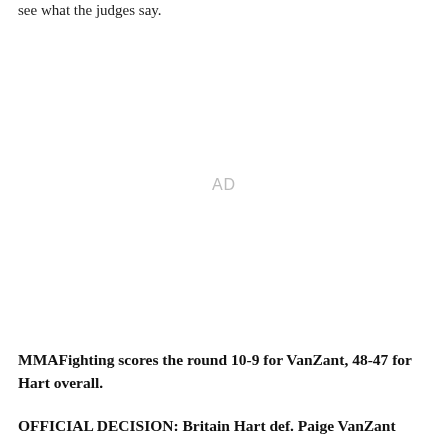see what the judges say.
[Figure (other): Advertisement placeholder area with 'AD' label in light gray]
MMAFighting scores the round 10-9 for VanZant, 48-47 for Hart overall.
OFFICIAL DECISION: Britain Hart def. Paige VanZant